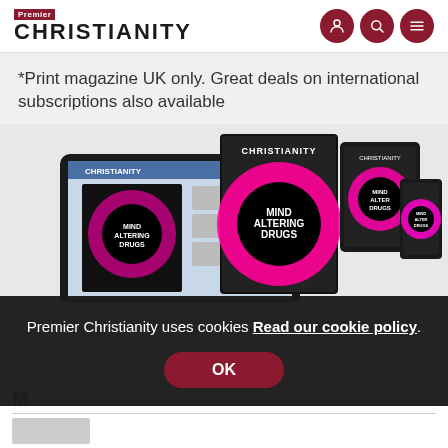Premier Christianity
*Print magazine UK only. Great deals on international subscriptions also available
[Figure (screenshot): Premier Christianity magazine shown across multiple devices: tablet showing website, print magazine, iPad tablet, smartphone, and small phone — all featuring 'Mind Altering Drugs' cover]
Premier Christianity uses cookies Read our cookie policy.
OK
M